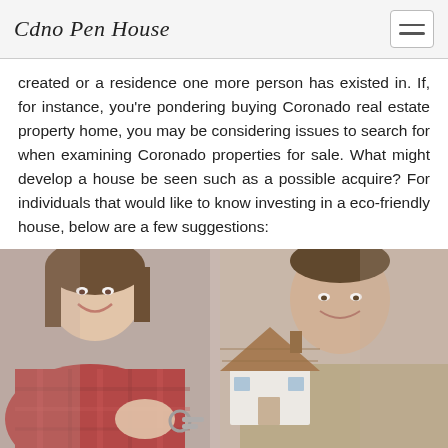Cdno Pen House
created or a residence one more person has existed in. If, for instance, you’re pondering buying Coronado real estate property home, you may be considering issues to search for when examining Coronado properties for sale. What might develop a house be seen such as a possible acquire? For individuals that would like to know investing in a eco-friendly house, below are a few suggestions:
[Figure (photo): Two people (a woman in a red flannel shirt and a man in a beige sweater) smiling and holding keys and a miniature white house model with a wooden roof.]